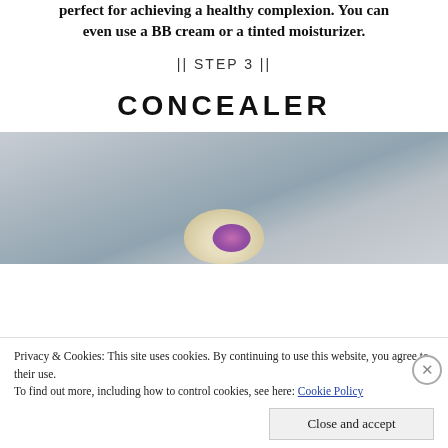perfect for achieving a healthy complexion. You can even use a BB cream or a tinted moisturizer.
|| STEP 3 ||
CONCEALER
[Figure (photo): A blurred close-up photo showing a concealer or cosmetic product on a fabric or marble surface, with purple/floral decoration visible.]
Privacy & Cookies: This site uses cookies. By continuing to use this website, you agree to their use.
To find out more, including how to control cookies, see here: Cookie Policy
Close and accept